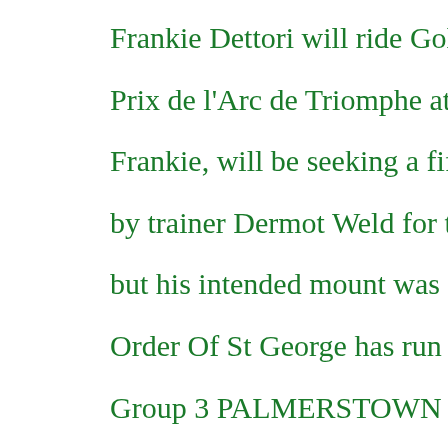Frankie Dettori will ride Gold Cup winner [Order Of St George in the Prix de l'Arc de Triomphe at Chantilly on]
Frankie, will be seeking a fifth win in the [race and was booked by trainer Dermot Weld for the 2015 Cha[mpion Hurdle winner] but his intended mount was ruled out 24 h[ours before the race]
Order Of St George has run twice since w[inning the Gold Cup, winning the] Group 3 PALMERSTOWN HOUSE ESTA[TES Irish St Leger but was] surprisingly beaten at odds of 1-7 in the G[allowglass] ST. LEGER . The Galileo colt will be runn[ing]
Frankie said: "I've picked up the ride on O[rder Of St George - last time was when I rode Camelot for Aidan in the [Arc. I thought I might miss out on an Arc ride after Fascin[ating was ruled out but that Aidan has asked me to ride for him ag[ain is fantastic."